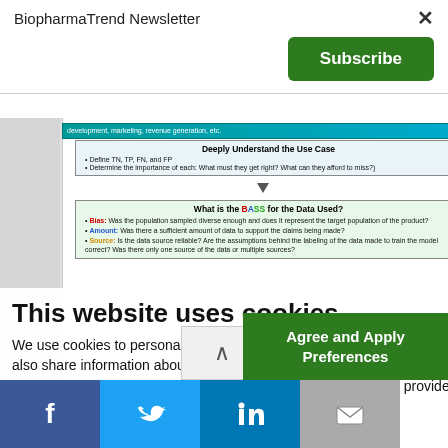BiopharmaTrend Newsletter
[Figure (screenshot): Partially visible slide content showing 'Deeply Understand the Use Case' and 'What is the BASS for the Data Used?' boxes with bullet points about TN, TP, FN, FP, Bias, Amount, Source]
This website uses cookies
We use cookies to personalise content and to analyse our traffic. We also share information about your use of our site with our analytics partners who may combine it with other information that you've provided
Necessary cookies
Don't show subscribe popup
[Figure (other): Social media share buttons: Facebook, Twitter, LinkedIn, Email]